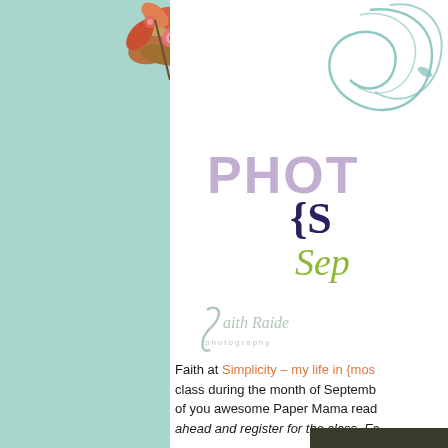[Figure (illustration): Left panel with mint/teal background and floral botanical illustration in top-right corner of panel]
[Figure (logo): Photography class logo with teal swirl/script decoration, large purple 'PHOT' text, dark blue '{S}' bracket text, and olive/yellow-green 'Sep' italic text, plus Faith Raider photography script logo]
Faith at Simplicity – my life in {mos... class during the month of September... of you awesome Paper Mama rea... ahead and register for the class, Fa...